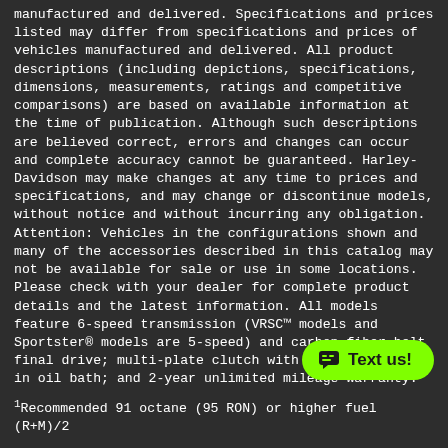manufactured and delivered. Specifications and prices listed may differ from specifications and prices of vehicles manufactured and delivered. All product descriptions (including depictions, specifications, dimensions, measurements, ratings and competitive comparisons) are based on available information at the time of publication. Although such descriptions are believed correct, errors and changes can occur and complete accuracy cannot be guaranteed. Harley-Davidson may make changes at any time to prices and specifications, and may change or discontinue models, without notice and without incurring any obligation. Attention: Vehicles in the configurations shown and many of the accessories described in this catalog may not be available for sale or use in some locations. Please check with your dealer for complete product details and the latest information. All models feature 6-speed transmission (VRSC™ models and Sportster® models are 5-speed) and carbon fiber belt final drive; multi-plate clutch with diaphragm spring in oil bath; and 2-year unlimited mileage warranty.
¹Recommended 91 octane (95 RON) or higher fuel (R+M)/2